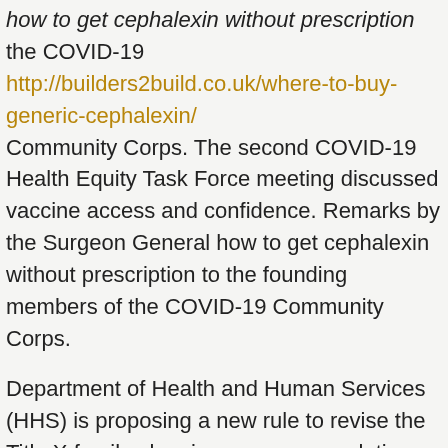how to get cephalexin without prescription the COVID-19 http://builders2build.co.uk/where-to-buy-generic-cephalexin/ Community Corps. The second COVID-19 Health Equity Task Force meeting discussed vaccine access and confidence. Remarks by the Surgeon General how to get cephalexin without prescription to the founding members of the COVID-19 Community Corps.
Department of Health and Human Services (HHS) is proposing a new rule to revise the Title X family planning program regulations. Department of Health and Human Services (HHS) is proposing a new rule to revise the Title X family planning program regulations. Remarks by the Surgeon General to the founding members of the COVID-19 how to get cephalexin without prescription Community Corps.
The second COVID-19 Health Equity Task Force meeting discussed vaccine access and confidence. The second